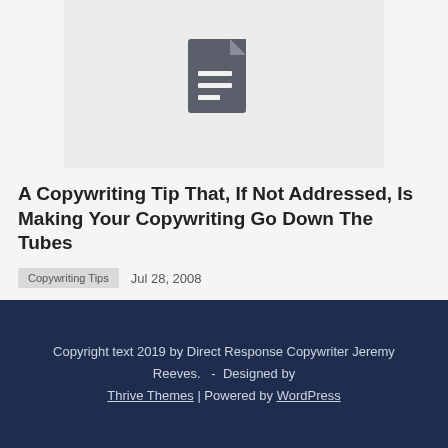[Figure (illustration): Document/file icon on a light grey background — a dark grey document icon with lines representing text]
A Copywriting Tip That, If Not Addressed, Is Making Your Copywriting Go Down The Tubes
Copywriting Tips   Jul 28, 2008
Copyright text 2019 by Direct Response Copywriter Jeremy Reeves.   -  Designed by Thrive Themes | Powered by WordPress